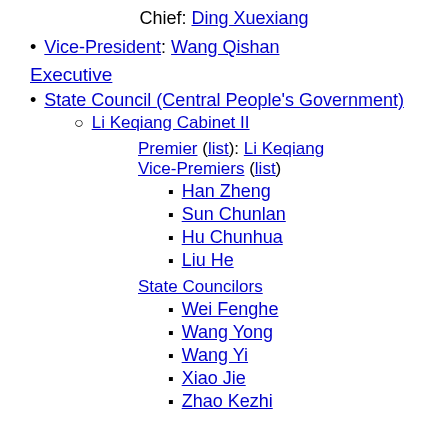Chief: Ding Xuexiang
Vice-President: Wang Qishan
Executive
State Council (Central People's Government)
Li Keqiang Cabinet II
Premier (list): Li Keqiang
Vice-Premiers (list)
Han Zheng
Sun Chunlan
Hu Chunhua
Liu He
State Councilors
Wei Fenghe
Wang Yong
Wang Yi
Xiao Jie
Zhao Kezhi